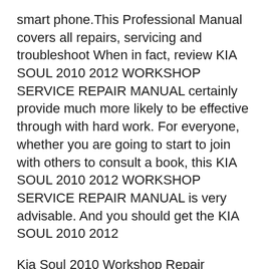smart phone.This Professional Manual covers all repairs, servicing and troubleshoot When in fact, review KIA SOUL 2010 2012 WORKSHOP SERVICE REPAIR MANUAL certainly provide much more likely to be effective through with hard work. For everyone, whether you are going to start to join with others to consult a book, this KIA SOUL 2010 2012 WORKSHOP SERVICE REPAIR MANUAL is very advisable. And you should get the KIA SOUL 2010 2012
Kia Soul 2010 Workshop Repair Service Manual PDF Download This professional technical manual contains service, maintenance, and troubleshooting informatio..... Download 14.95 USD Kia Soul 2010 Workshop Repair Service